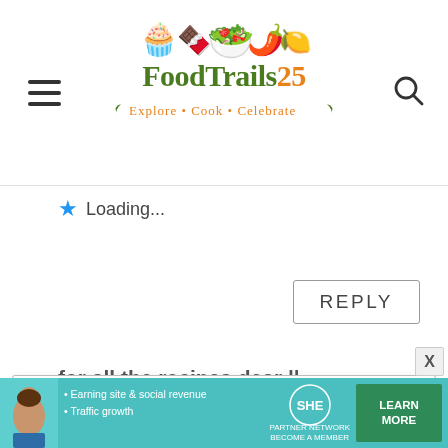FoodTrails25 - Explore · Cook · Celebrate
★ Loading...
REPLY
for all the recipes dear ||
Privacy & Cookies: This site uses cookies. By continuing to use this website, you agree to their use. To find out more, including how to control cookies, see here: Cookie Policy
Close and accept
[Figure (infographic): SHE Media Partner Network advertisement banner with photo of woman, bullet points about earning site & social revenue and traffic growth, and a green LEARN MORE button]